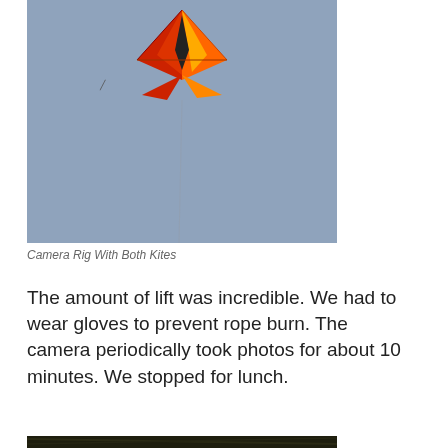[Figure (photo): Photo of a colorful kite with red, orange, and yellow colors against a blue-grey sky, with a small bird or distant kite visible in the background]
Camera Rig With Both Kites
The amount of lift was incredible.  We had to wear gloves to prevent rope burn.  The camera periodically took photos for about 10 minutes.  We stopped for lunch.
[Figure (photo): Dark aerial photograph showing what appears to be a landscape or terrain viewed from above, mostly dark tones with some visible texture]